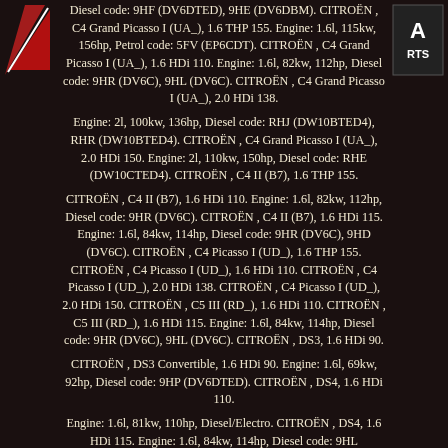[Figure (logo): Red diagonal logo on left side]
[Figure (logo): Logo with 'A' and 'RTS' text on right side]
Diesel code: 9HF (DV6DTED), 9HE (DV6DBM). CITROËN , C4 Grand Picasso I (UA_), 1.6 THP 155. Engine: 1.6l, 115kw, 156hp, Petrol code: 5FV (EP6CDT). CITROËN , C4 Grand Picasso I (UA_), 1.6 HDi 110. Engine: 1.6l, 82kw, 112hp, Diesel code: 9HR (DV6C), 9HL (DV6C). CITROËN , C4 Grand Picasso I (UA_), 2.0 HDi 138.
Engine: 2l, 100kw, 136hp, Diesel code: RHJ (DW10BTED4), RHR (DW10BTED4). CITROËN , C4 Grand Picasso I (UA_), 2.0 HDi 150. Engine: 2l, 110kw, 150hp, Diesel code: RHE (DW10CTED4). CITROËN , C4 II (B7), 1.6 THP 155.
CITROËN , C4 II (B7), 1.6 HDi 110. Engine: 1.6l, 82kw, 112hp, Diesel code: 9HR (DV6C). CITROËN , C4 II (B7), 1.6 HDi 115. Engine: 1.6l, 84kw, 114hp, Diesel code: 9HR (DV6C), 9HD (DV6C). CITROËN , C4 Picasso I (UD_), 1.6 THP 155. CITROËN , C4 Picasso I (UD_), 1.6 HDi 110. CITROËN , C4 Picasso I (UD_), 2.0 HDi 138. CITROËN , C4 Picasso I (UD_), 2.0 HDi 150. CITROËN , C5 III (RD_), 1.6 HDi 110. CITROËN , C5 III (RD_), 1.6 HDi 115. Engine: 1.6l, 84kw, 114hp, Diesel code: 9HR (DV6C), 9HL (DV6C). CITROËN , DS3, 1.6 HDi 90.
CITROËN , DS3 Convertible, 1.6 HDi 90. Engine: 1.6l, 69kw, 92hp, Diesel code: 9HP (DV6DTED). CITROËN , DS4, 1.6 HDi 110.
Engine: 1.6l, 81kw, 110hp, Diesel/Electro. CITROËN , DS4, 1.6 HDi 115. Engine: 1.6l, 84kw, 114hp, Diesel code: 9HL